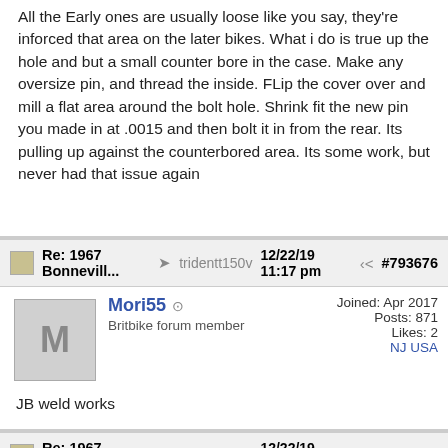All the Early ones are usually loose like you say, they're inforced that area on the later bikes. What i do is true up the hole and but a small counter bore in the case. Make any oversize pin, and thread the inside. FLip the cover over and mill a flat area around the bolt hole. Shrink fit the new pin you made in at .0015 and then bolt it in from the rear. Its pulling up against the counterbored area. Its some work, but never had that issue again
Re: 1967 Bonnevill... → tridentt150v 12/22/19 11:17 pm ⋮ #793676
Mori55 — Britbike forum member | Joined: Apr 2017 | Posts: 871 | Likes: 2 | NJ USA
JB weld works
Re: 1967 Bonnevill... → tridentt150v 12/22/19 11:28 pm ⋮ #793678
tridentt150v OP — Britbike forum member | Joined: Sep 2001 | Posts: 1,424 | Likes: 38 | Great Southern Land